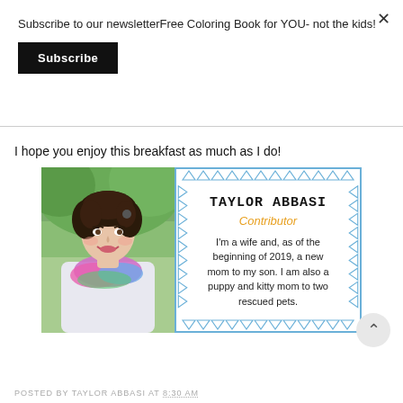Subscribe to our newsletterFree Coloring Book for YOU- not the kids!
Subscribe
I hope you enjoy this breakfast as much as I do!
[Figure (infographic): Author card for Taylor Abbasi showing a photo of a smiling woman with curly dark hair and a colorful scarf, next to a bordered box with triangle decorations containing the name TAYLOR ABBASI, the role 'Contributor', and a biography text.]
POSTED BY TAYLOR ABBASI AT 8:30 AM